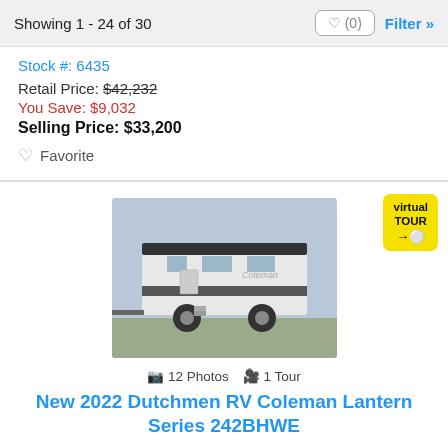Showing 1 - 24 of 30
Stock #: 6435
Retail Price: $42,232
You Save: $9,032
Selling Price: $33,200
Favorite
[Figure (photo): Exterior photo of a 2022 Dutchmen RV Coleman Lantern Series 242BHWE travel trailer, white with dark trim, parked outdoors]
12 Photos  1 Tour
New 2022 Dutchmen RV Coleman Lantern Series 242BHWE
Stock #: 6407
Retail Price: $43,488
You Save: $9,588
Selling Price: $33,900